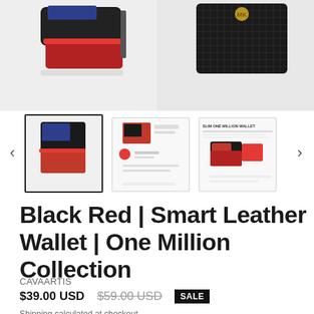[Figure (photo): Top product images showing black and red leather wallet (left) and black textured wallet with gold emblem (right)]
[Figure (photo): Thumbnail carousel with three product thumbnails: (1) selected black/red wallet front view, (2) wallet features infographic with red/black design, (3) slim one million wallet infographic. Navigation arrows on left and right.]
Black Red | Smart Leather Wallet | One Million Collection
CAVAARTIS
$39.00 USD $59.00 USD SALE
Shipping calculated at checkout.